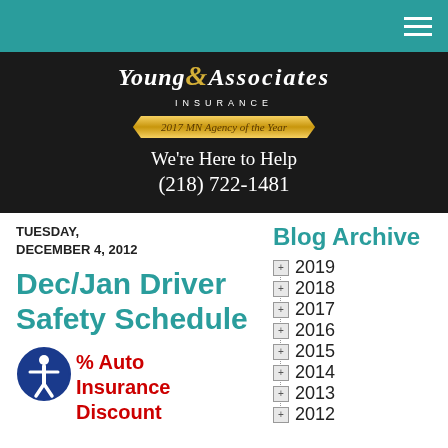Young & Associates Insurance — We're Here to Help (218) 722-1481
TUESDAY, DECEMBER 4, 2012
Dec/Jan Driver Safety Schedule
% Auto Insurance Discount
Blog Archive
2019
2018
2017
2016
2015
2014
2013
2012